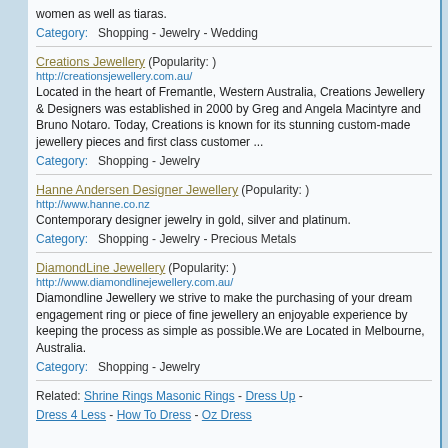women as well as tiaras.
Category:   Shopping - Jewelry - Wedding
Creations Jewellery (Popularity: )
http://creationsjewellery.com.au/
Located in the heart of Fremantle, Western Australia, Creations Jewellery & Designers was established in 2000 by Greg and Angela Macintyre and Bruno Notaro. Today, Creations is known for its stunning custom-made jewellery pieces and first class customer ...
Category:   Shopping - Jewelry
Hanne Andersen Designer Jewellery (Popularity: )
http://www.hanne.co.nz
Contemporary designer jewelry in gold, silver and platinum.
Category:   Shopping - Jewelry - Precious Metals
DiamondLine Jewellery (Popularity: )
http://www.diamondlinejewellery.com.au/
Diamondline Jewellery we strive to make the purchasing of your dream engagement ring or piece of fine jewellery an enjoyable experience by keeping the process as simple as possible.We are Located in Melbourne, Australia.
Category:   Shopping - Jewelry
Related: Shrine Rings Masonic Rings - Dress Up - Dress 4 Less - How To Dress - Oz Dress